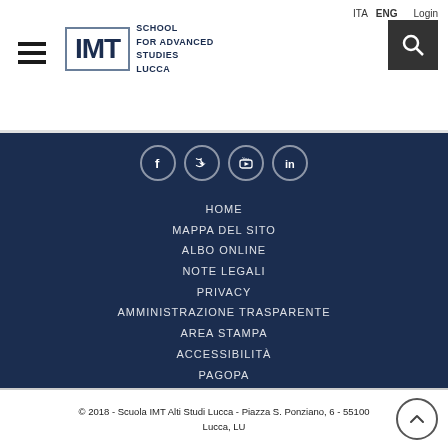ITA  ENG  Login
[Figure (logo): IMT School for Advanced Studies Lucca logo with hamburger menu icon and search button]
[Figure (infographic): Social media icons row: Facebook, Twitter, YouTube, LinkedIn]
HOME
MAPPA DEL SITO
ALBO ONLINE
NOTE LEGALI
PRIVACY
AMMINISTRAZIONE TRASPARENTE
AREA STAMPA
ACCESSIBILITÀ
PAGOPA
© 2018 - Scuola IMT Alti Studi Lucca - Piazza S. Ponziano, 6 - 55100 Lucca, LU